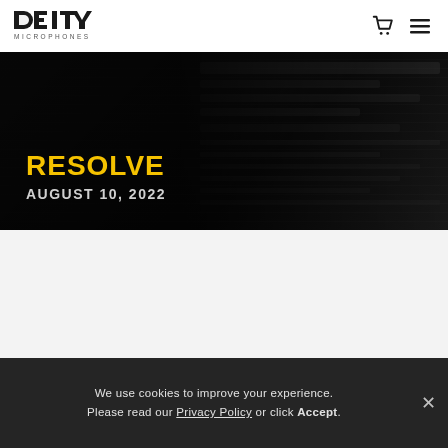DEITY MICROPHONES
[Figure (screenshot): Dark hero image of a video editing/audio mixing interface with RESOLVE title in yellow and date AUGUST 10, 2022 in white below it]
RESOLVE
AUGUST 10, 2022
We use cookies to improve your experience. Please read our Privacy Policy or click Accept.